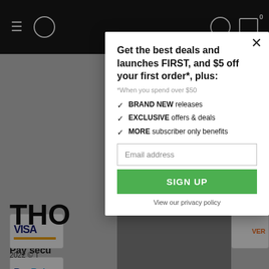[Figure (screenshot): E-commerce website background showing navigation bar, payment icons (Visa, Discover, PayPal), and partial page footer text 'THO' and '2022 © T'. A modal popup overlay is shown on top.]
Get the best deals and launches FIRST, and $5 off your first order*, plus:
*When you spend over $50
BRAND NEW releases
EXCLUSIVE offers & deals
MORE subscriber only benefits
Email address
SIGN UP
View our privacy policy